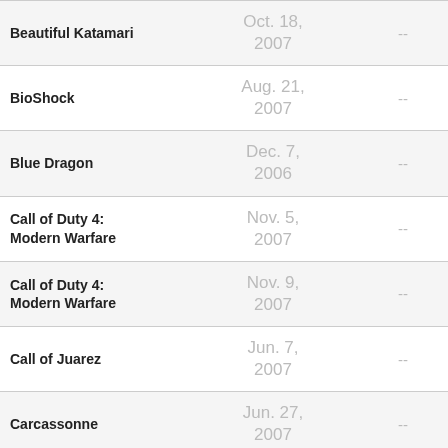| Game | Date |  | Score |
| --- | --- | --- | --- |
| Beautiful Katamari | Oct. 18, 2007 | -- | 8.5 |
| BioShock | Aug. 21, 2007 | -- | 10 |
| Blue Dragon | Dec. 7, 2006 | -- | 5.5 |
| Call of Duty 4: Modern Warfare | Nov. 5, 2007 | -- | 10 |
| Call of Duty 4: Modern Warfare | Nov. 9, 2007 | -- | 10 |
| Call of Juarez | Jun. 7, 2007 | -- |  |
| Carcassonne | Jun. 27, 2007 | -- | 9.5 |
| Chocobo to Mahou no Ehon | Dec. 14, 2006 | -- |  |